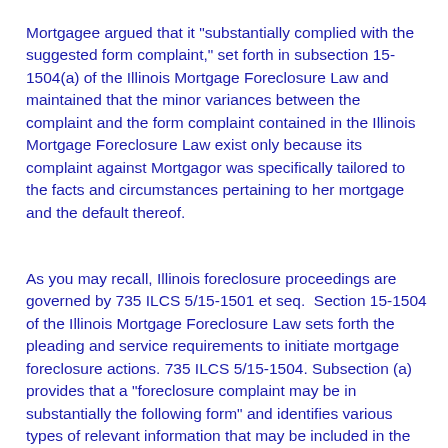Mortgagee argued that it "substantially complied with the suggested form complaint," set forth in subsection 15-1504(a) of the Illinois Mortgage Foreclosure Law and maintained that the minor variances between the complaint and the form complaint contained in the Illinois Mortgage Foreclosure Law exist only because its complaint against Mortgagor was specifically tailored to the facts and circumstances pertaining to her mortgage and the default thereof.
As you may recall, Illinois foreclosure proceedings are governed by 735 ILCS 5/15-1501 et seq.  Section 15-1504 of the Illinois Mortgage Foreclosure Law sets forth the pleading and service requirements to initiate mortgage foreclosure actions. 735 ILCS 5/15-1504. Subsection (a) provides that a "foreclosure complaint may be in substantially the following form" and identifies various types of relevant information that may be included in the complaint, if appropriate, including: a copy of the mortgage